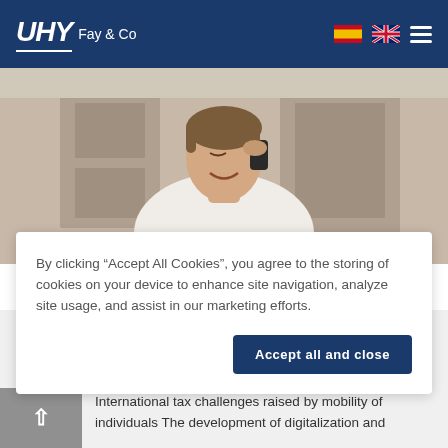UHY Fay & Co
[Figure (photo): Man smiling and talking on a mobile phone, wearing a white shirt, indoors]
By clicking “Accept All Cookies”, you agree to the storing of cookies on your device to enhance site navigation, analyze site usage, and assist in our marketing efforts.
Accept all and close
International tax challenges
International tax challenges raised by mobility of individuals The development of digitalization and